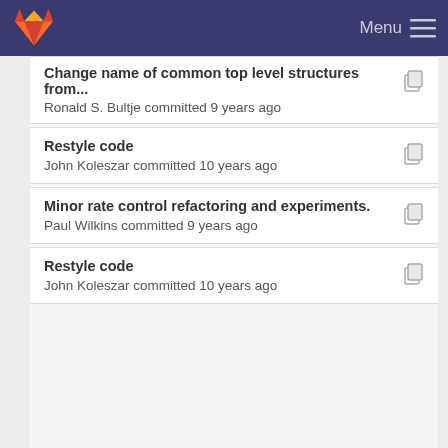GitLab — Menu
Change name of common top level structures from... Ronald S. Bultje committed 9 years ago
Restyle code John Koleszar committed 10 years ago
Minor rate control refactoring and experiments. Paul Wilkins committed 9 years ago
Restyle code John Koleszar committed 10 years ago